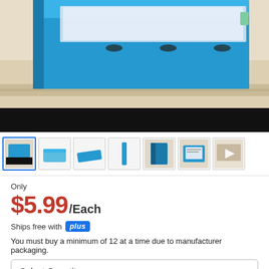[Figure (photo): Close-up product photo of a blue binder/ring binder open on a light wood desk surface. The binder has a bright blue cover and open rings visible. The lower portion of the image shows a dark/black shadow area.]
[Figure (photo): Row of 7 product thumbnail images showing the blue binder from various angles: top-down with binder open, flat closed binder, binder at angle, spine view, standing upright, pages inside binder, and a video play button thumbnail.]
Only
$5.99/Each
Ships free with plus
You must buy a minimum of 12 at a time due to manufacturer packaging.
Select Quantity